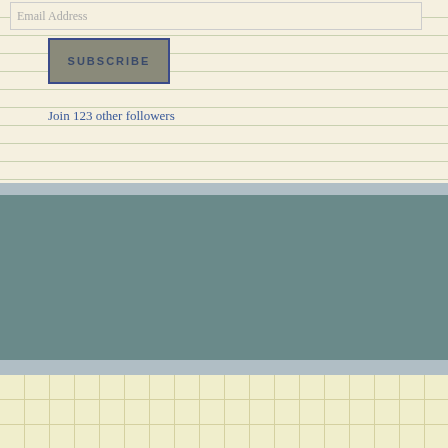[Figure (screenshot): Email address input field at the top of a blog sidebar widget with lined paper background]
[Figure (screenshot): Subscribe button with blue border on gray background]
Join 123 other followers
Categories
[Figure (screenshot): Select Category dropdown widget on teal background]
Thinking about